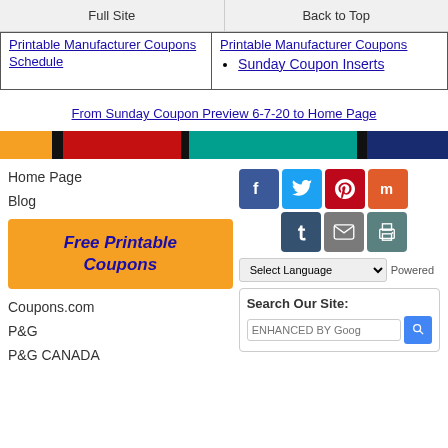Full Site | Back to Top
Printable Manufacturer Coupons
Sunday Coupon Inserts
From Sunday Coupon Preview 6-7-20 to Home Page
[Figure (infographic): Colored bar with orange, black, red, black, teal, black, and navy segments]
Home Page
Blog
Free Printable Coupons
Coupons.com
P&G
P&G CANADA
[Figure (infographic): Social media icons: Facebook, Twitter, Pinterest, Mix, Tumblr, Email, Print]
Select Language
Powered
Search Our Site: